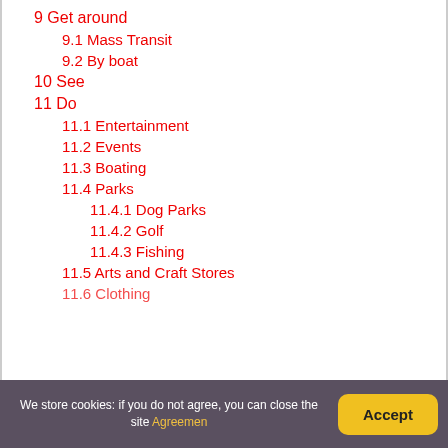9 Get around
9.1 Mass Transit
9.2 By boat
10 See
11 Do
11.1 Entertainment
11.2 Events
11.3 Boating
11.4 Parks
11.4.1 Dog Parks
11.4.2 Golf
11.4.3 Fishing
11.5 Arts and Craft Stores
11.6 Clothing
We store cookies: if you do not agree, you can close the site Agreemen